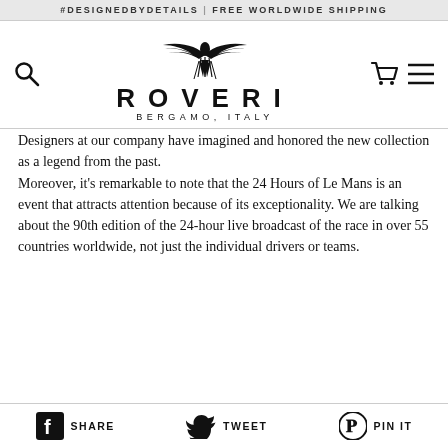#DESIGNEDBYDETAILS | FREE WORLDWIDE SHIPPING
[Figure (logo): Roveri brand logo with eagle/bird emblem, ROVERI text in spaced capitals, and BERGAMO, ITALY subtitle]
Designers at our company have imagined and honored the new collection as a legend from the past. Moreover, it's remarkable to note that the 24 Hours of Le Mans is an event that attracts attention because of its exceptionality. We are talking about the 90th edition of the 24-hour live broadcast of the race in over 55 countries worldwide, not just the individual drivers or teams.
SHARE   TWEET   PIN IT